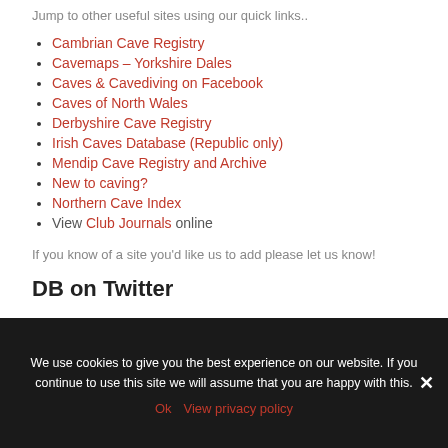Jump to other useful sites using our quick links..
Cambrian Cave Registry
Cavemaps – Yorkshire Dales
Caves & Cavediving on Facebook
Caves of North Wales
Derbyshire Cave Registry
Irish Caves Database (Republic only)
Mendip Cave Registry and Archive
New to caving?
Northern Cave Index
View Club Journals online
If you know of a site you'd like us to add please let us know!
DB on Twitter
We use cookies to give you the best experience on our website. If you continue to use this site we will assume that you are happy with this.
Ok  View privacy policy